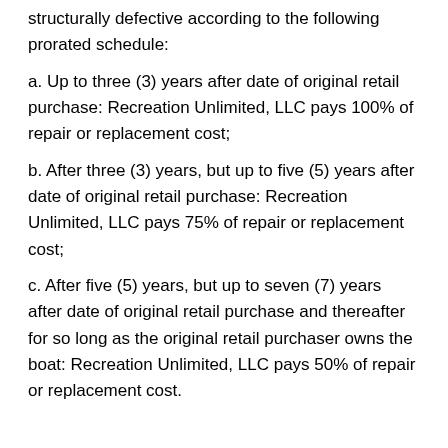structurally defective according to the following prorated schedule:
a. Up to three (3) years after date of original retail purchase: Recreation Unlimited, LLC pays 100% of repair or replacement cost;
b. After three (3) years, but up to five (5) years after date of original retail purchase: Recreation Unlimited, LLC pays 75% of repair or replacement cost;
c. After five (5) years, but up to seven (7) years after date of original retail purchase and thereafter for so long as the original retail purchaser owns the boat: Recreation Unlimited, LLC pays 50% of repair or replacement cost.